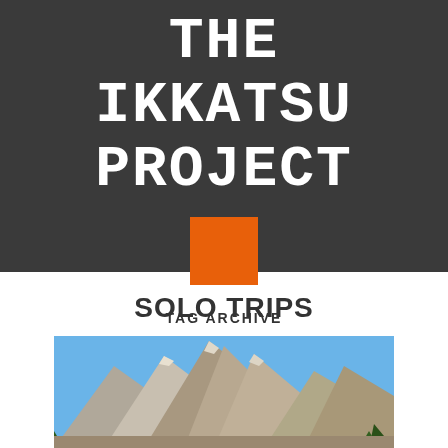THE IKKATSU PROJECT
[Figure (illustration): Orange square graphic element on dark background]
SOLO TRIPS
TAG ARCHIVE
[Figure (photo): Mountain peaks with rocky terrain under blue sky with trees in foreground]